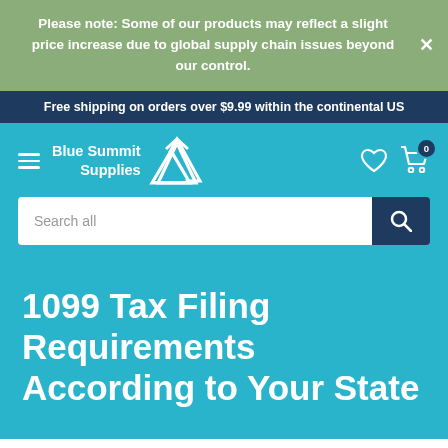Please note: Some of our products may reflect a slight price increase due to global supply chain issues beyond our control.
Free shipping on orders over $9.99 within the continental US
[Figure (logo): Blue Summit Supplies logo with mountain peak icon]
Search all
1099 Tax Filing Requirements According to Your State